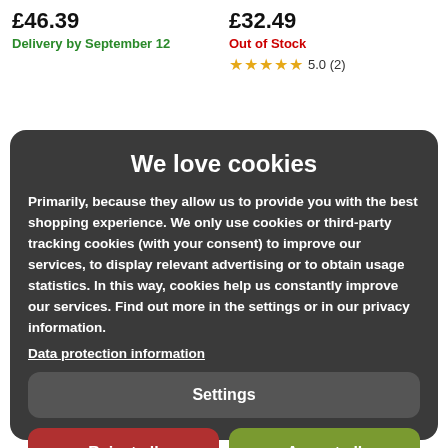£46.39
Delivery by September 12
£32.49
Out of Stock
★★★★★ 5.0 (2)
We love cookies
Primarily, because they allow us to provide you with the best shopping experience. We only use cookies or third-party tracking cookies (with your consent) to improve our services, to display relevant advertising or to obtain usage statistics. In this way, cookies help us constantly improve our services. Find out more in the settings or in our privacy information.
Data protection information
Settings
Reject all
Accept all